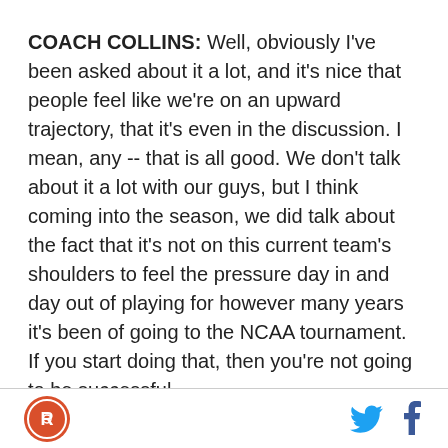COACH COLLINS: Well, obviously I've been asked about it a lot, and it's nice that people feel like we're on an upward trajectory, that it's even in the discussion. I mean, any -- that is all good. We don't talk about it a lot with our guys, but I think coming into the season, we did talk about the fact that it's not on this current team's shoulders to feel the pressure day in and day out of playing for however many years it's been of going to the NCAA tournament. If you start doing that, then you're not going to be successful.

You know, I want these guys to enjoy the journey they have together. We have to take it each step -- I know it's cliché and I don't like that, but you have to really --
[logo] [twitter] [facebook]